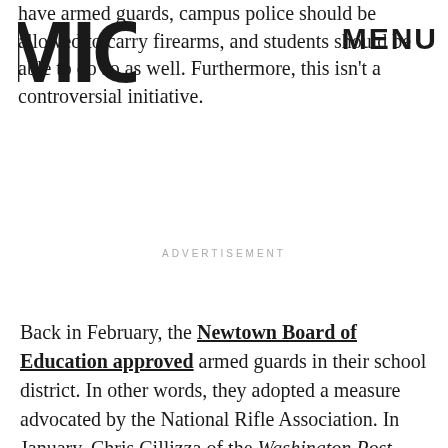[Figure (logo): MIC logo — bold block letters M I C stacked in a square]
have armed guards, campus police should be allowed to carry firearms, and students should be able to do so as well. Furthermore, this isn't a controversial initiative.
ADVERTISEMENT
Back in February, the Newtown Board of Education approved armed guards in their school district. In other words, they adopted a measure advocated by the National Rifle Association. In January, Chris Cillizza of the Washington Post wrote,